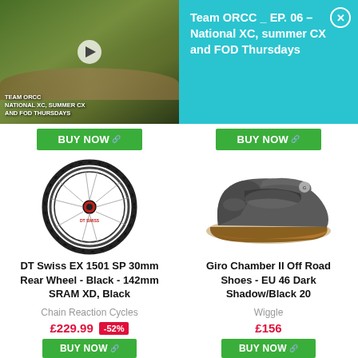[Figure (screenshot): Video thumbnail showing mountain bike rider on dirt track with 'TEAM ORCC NATIONAL XC, SUMMER CX AND FOD THURSDAYS' overlay text and play button]
Team ORCC _ EP. 06 – National XC, summer CX and FOD Thursdays
BUY NOW
BUY NOW
[Figure (photo): DT Swiss EX 1501 SP 30mm rear bicycle wheel in black]
[Figure (photo): Giro Chamber II off road cycling shoe in EU 46 Dark Shadow/Black]
DT Swiss EX 1501 SP 30mm Rear Wheel - Black - 142mm SRAM XD, Black
Chain Reaction Cycles
£229.99 -52%
Giro Chamber II Off Road Shoes - EU 46 Dark Shadow/Black 20
Wiggle
£156
BUY NOW
BUY NOW